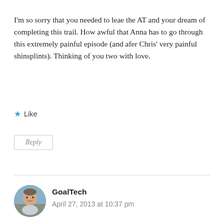I'm so sorry that you needed to leae the AT and your dream of completing this trail. How awful that Anna has to go through this extremely painful episode (and afer Chris' very painful shinsplints). Thinking of you two with love.
★ Like
Reply
[Figure (photo): Circular avatar photo of a man, smiling, with outdoor/mountain background]
GoalTech
April 27, 2013 at 10:37 pm